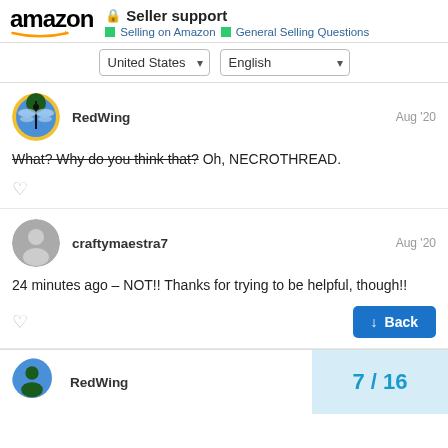Amazon Seller support — Selling on Amazon > General Selling Questions
RedWing — Aug '20
What? Why do you think that? Oh, NECROTHREAD.
craftymaestra7 — Aug '20
24 minutes ago – NOT!! Thanks for trying to be helpful, though!!
RedWing
7 / 16